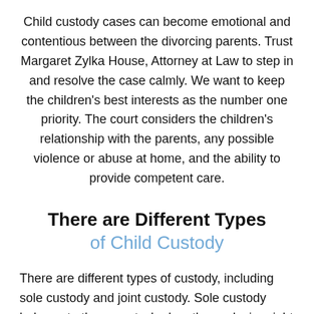Child custody cases can become emotional and contentious between the divorcing parents. Trust Margaret Zylka House, Attorney at Law to step in and resolve the case calmly. We want to keep the children's best interests as the number one priority. The court considers the children's relationship with the parents, any possible violence or abuse at home, and the ability to provide competent care.
There are Different Types of Child Custody
There are different types of custody, including sole custody and joint custody. Sole custody belongs to the parent who has the exclusive right of physical